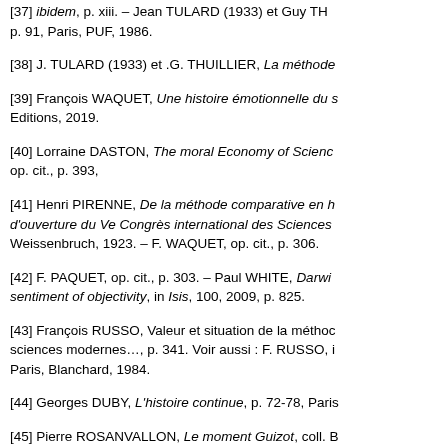[37] ibidem, p. xiii. – Jean TULARD (1933) et Guy TH... p. 91, Paris, PUF, 1986.
[38] J. TULARD (1933) et .G. THUILLIER, La méthode...
[39] François WAQUET, Une histoire émotionnelle du s... Editions, 2019.
[40] Lorraine DASTON, The moral Economy of Science... op. cit., p. 393,
[41] Henri PIRENNE, De la méthode comparative en h... d'ouverture du Ve Congrès international des Sciences... Weissenbruch, 1923. – F. WAQUET, op. cit., p. 306.
[42] F. PAQUET, op. cit., p. 303. – Paul WHITE, Darwi... sentiment of objectivity, in Isis, 100, 2009, p. 825.
[43] François RUSSO, Valeur et situation de la méthoc... sciences modernes…, p. 341. Voir aussi : F. RUSSO, i... Paris, Blanchard, 1984.
[44] Georges DUBY, L'histoire continue, p. 72-78, Paris...
[45] Pierre ROSANVALLON, Le moment Guizot, coll. B... Paris, NRF-Gallimard, 1985.